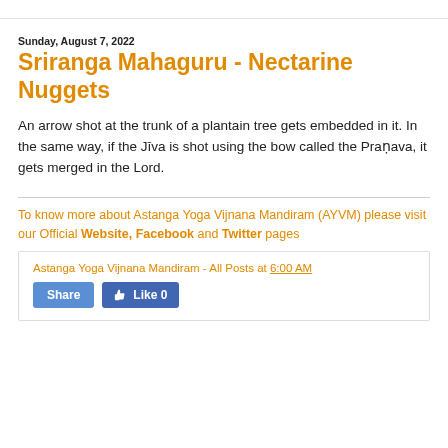Sunday, August 7, 2022
Sriranga Mahaguru - Nectarine Nuggets
An arrow shot at the trunk of a plantain tree gets embedded in it. In the same way, if the Jīva is shot using the bow called the Praṇava, it gets merged in the Lord.
To know more about Astanga Yoga Vijnana Mandiram (AYVM) please visit our Official Website, Facebook and Twitter pages
Astanga Yoga Vijnana Mandiram - All Posts at 6:00 AM